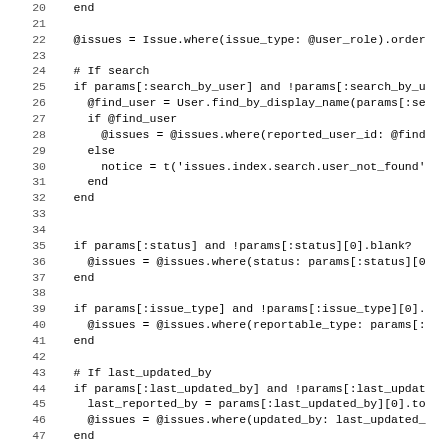[Figure (screenshot): Source code listing showing Ruby/Rails code for filtering issues, lines 20-51, with line numbers on the left and code on the right in monospace font.]